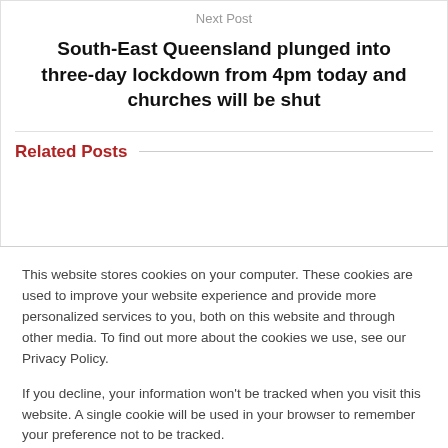Next Post
South-East Queensland plunged into three-day lockdown from 4pm today and churches will be shut
Related Posts
This website stores cookies on your computer. These cookies are used to improve your website experience and provide more personalized services to you, both on this website and through other media. To find out more about the cookies we use, see our Privacy Policy.
If you decline, your information won't be tracked when you visit this website. A single cookie will be used in your browser to remember your preference not to be tracked.